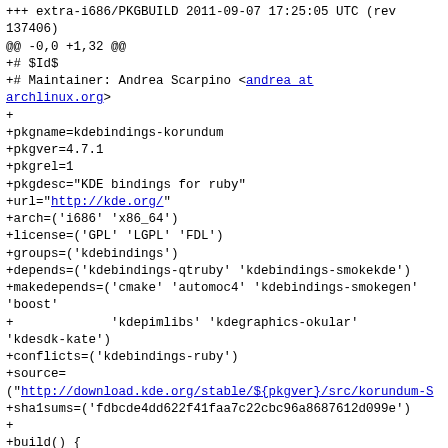+++ extra-i686/PKGBUILD 2011-09-07 17:25:05 UTC (rev 137406)
@@ -0,0 +1,32 @@
+# $Id$
+# Maintainer: Andrea Scarpino <andrea at archlinux.org>
+
+pkgname=kdebindings-korundum
+pkgver=4.7.1
+pkgrel=1
+pkgdesc="KDE bindings for ruby"
+url="http://kde.org/"
+arch=('i686' 'x86_64')
+license=('GPL' 'LGPL' 'FDL')
+groups=('kdebindings')
+depends=('kdebindings-qtruby' 'kdebindings-smokekde')
+makedepends=('cmake' 'automoc4' 'kdebindings-smokegen' 'boost'
+             'kdepimlibs' 'kdegraphics-okular' 'kdesdk-kate')
+conflicts=('kdebindings-ruby')
+source=
("http://download.kde.org/stable/${pkgver}/src/korundum-S
+sha1sums=('fdbcde4dd622f41faa7c22cbc96a8687612d099e')
+
+build() {
+  cd "${srcdir}"
+  mkdir build
+  cd build
+  cmake  /korundum-${pkgver} \